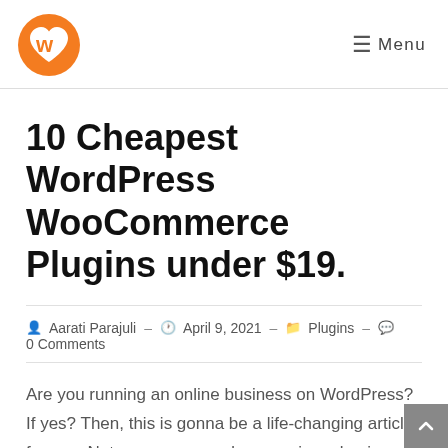W Menu
10 Cheapest WordPress WooCommerce Plugins under $19.
Aarati Parajuli – April 9, 2021 – Plugins – 0 Comments
Are you running an online business on WordPress? If yes? Then, this is gonna be a life-changing article for you. Not everyone can dare running a business, you must be a strong and brave human being. And we can't deny the fact that there are always risks in business either operational or financial...